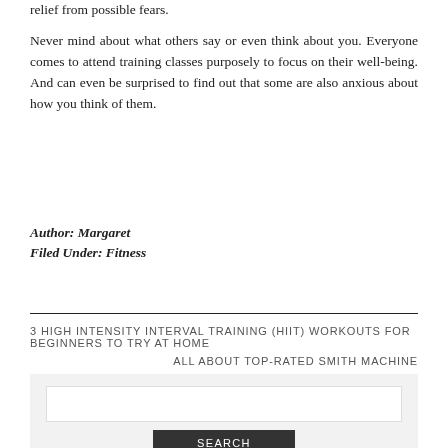relief from possible fears.
Never mind about what others say or even think about you. Everyone comes to attend training classes purposely to focus on their well-being. And can even be surprised to find out that some are also anxious about how you think of them.
Author: Margaret
Filed Under: Fitness
3 HIGH INTENSITY INTERVAL TRAINING (HIIT) WORKOUTS FOR BEGINNERS TO TRY AT HOME
ALL ABOUT TOP-RATED SMITH MACHINE
[Figure (other): Search box with text input field and SEARCH button on a light gray background]